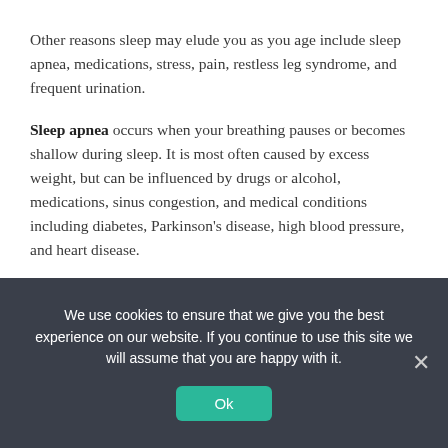Other reasons sleep may elude you as you age include sleep apnea, medications, stress, pain, restless leg syndrome, and frequent urination.
Sleep apnea occurs when your breathing pauses or becomes shallow during sleep. It is most often caused by excess weight, but can be influenced by drugs or alcohol, medications, sinus congestion, and medical conditions including diabetes, Parkinson's disease, high blood pressure, and heart disease.
Medications that can interfere with sleep include
We use cookies to ensure that we give you the best experience on our website. If you continue to use this site we will assume that you are happy with it.